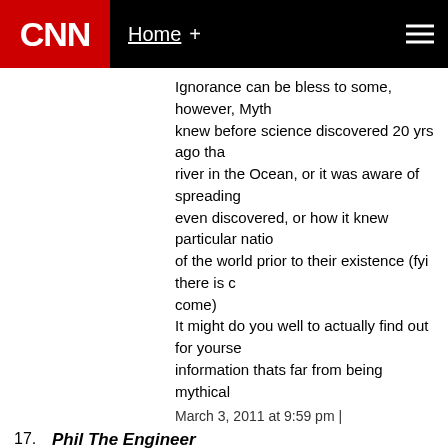CNN Home +
Ignorance can be bless to some, however, Myth knew before science discovered 20 yrs ago that river in the Ocean, or it was aware of spreading even discovered, or how it knew particular natio of the world prior to their existence (fyi there is c come)
It might do you well to actually find out for yourse information thats far from being mythical
March 3, 2011 at 9:59 pm |
17. Phil The Engineer
Of course, all of our decisions should be based on tho merchants.
March 3, 2011 at 9:30 pm |
18. thunder
Gays are condemned in the Bible because they violate Laughable. The Apostles likely all had multiple wives...